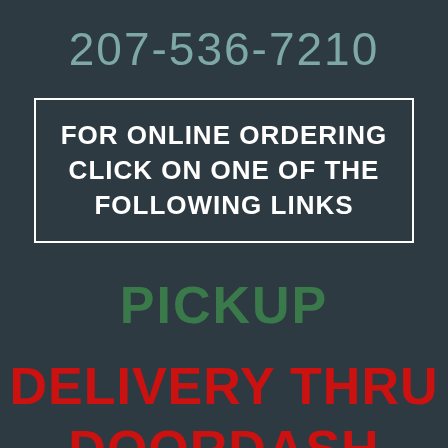207-536-7210
FOR ONLINE ORDERING CLICK ON ONE OF THE FOLLOWING LINKS
PICKUP
DELIVERY THRU DOORDASH